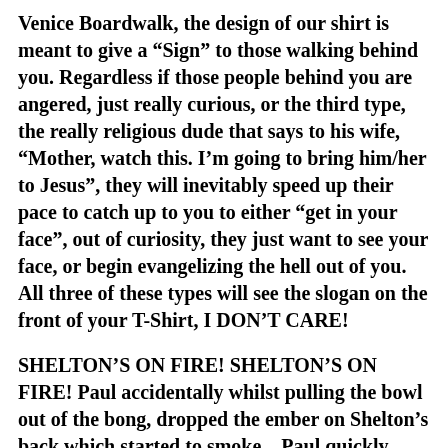Venice Boardwalk, the design of our shirt is meant to give a “Sign” to those walking behind you. Regardless if those people behind you are angered, just really curious, or the third type, the really religious dude that says to his wife, “Mother, watch this. I’m going to bring him/her to Jesus”, they will inevitably speed up their pace to catch up to you to either “get in your face”, out of curiosity, they just want to see your face, or begin evangelizing the hell out of you. All three of these types will see the slogan on the front of your T-Shirt, I DON’T CARE!
SHELTON’S ON FIRE! SHELTON’S ON FIRE! Paul accidentally whilst pulling the bowl out of the bong, dropped the ember on Shelton’s back which started to smoke....Paul quickly leaped to the kitchen to fetch a glass of water yelling “SHELTON’S ON FIRE! SHELTON’S ON FIRE!” and